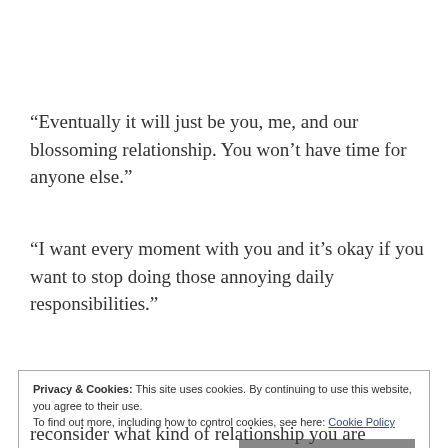“Eventually it will just be you, me, and our blossoming relationship. You won’t have time for anyone else.”
“I want every moment with you and it’s okay if you want to stop doing those annoying daily responsibilities.”
Privacy & Cookies: This site uses cookies. By continuing to use this website, you agree to their use.
To find out more, including how to control cookies, see here: Cookie Policy
reconsider what kind of relationship you are seeking